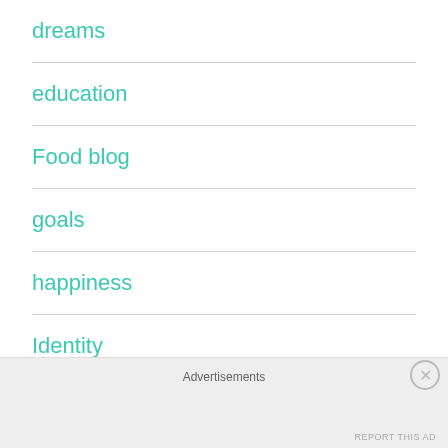dreams
education
Food blog
goals
happiness
Identity
insomnia
Advertisements